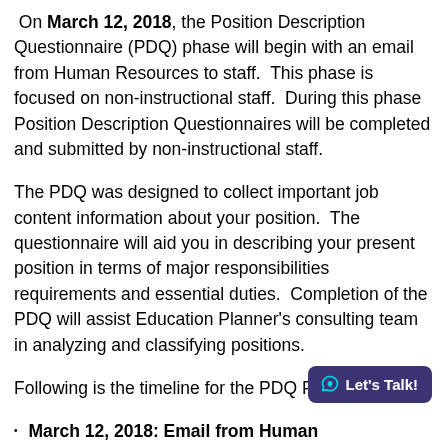On March 12, 2018, the Position Description Questionnaire (PDQ) phase will begin with an email from Human Resources to staff.  This phase is focused on non-instructional staff.  During this phase Position Description Questionnaires will be completed and submitted by non-instructional staff.
The PDQ was designed to collect important job content information about your position.  The questionnaire will aid you in describing your present position in terms of major responsibilities requirements and essential duties.  Completion of the PDQ will assist Education Planner's consulting team in analyzing and classifying positions.
Following is the timeline for the PDQ Phase:
March 12, 2018: Email from Human